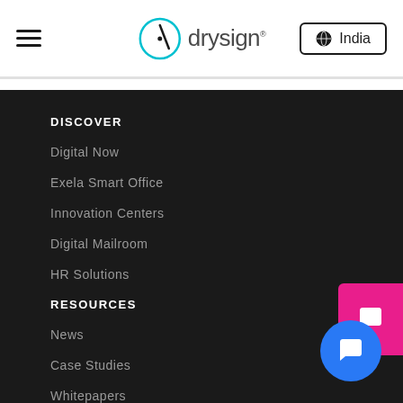drysign India
DISCOVER
Digital Now
Exela Smart Office
Innovation Centers
Digital Mailroom
HR Solutions
RESOURCES
News
Case Studies
Whitepapers
Events